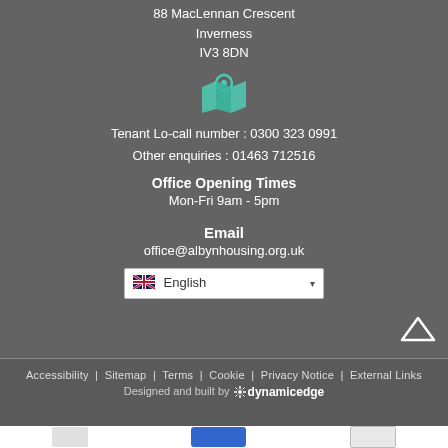88 MacLennan Crescent
Inverness
IV3 8DN
[Figure (illustration): Teal map/location icon]
Tenant Lo-call number : 0300 323 0991
Other enquiries : 01463 712516
Office Opening Times
Mon-Fri 9am - 5pm
Email
office@albynhousing.org.uk
[Figure (screenshot): Language selector dropdown showing UK flag and 'English']
Accessibility | Sitemap | Terms | Cookie | Privacy Notice | External Links
Designed and built by dynamicedge